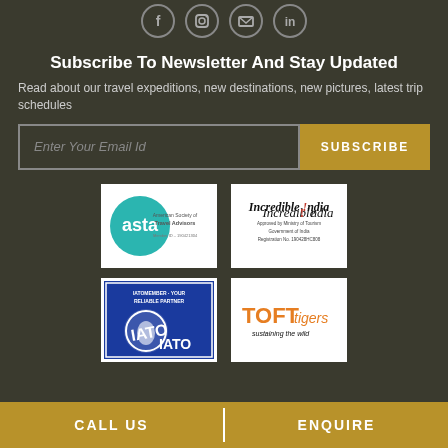[Figure (other): Social media icons row: Facebook, Instagram, Email, LinkedIn — circular outlined icons]
Subscribe To Newsletter And Stay Updated
Read about our travel expeditions, new destinations, new pictures, latest trip schedules
[Figure (other): Email subscription form with input field 'Enter Your Email Id' and a gold SUBSCRIBE button]
[Figure (logo): ASTA (American Society of Travel Advisors) logo — teal circle with 'asta' text, Member ID: 190421304]
[Figure (logo): Incredible India logo — Approved by Ministry of Tourism, Government of India, Registration No. 190428HC808]
[Figure (logo): IATO logo —Atomember Your Reliable Partner, blue circular logo]
[Figure (logo): TOFTigers logo — orange and black text 'TOFTigers sustaining the wild']
CALL US   ENQUIRE